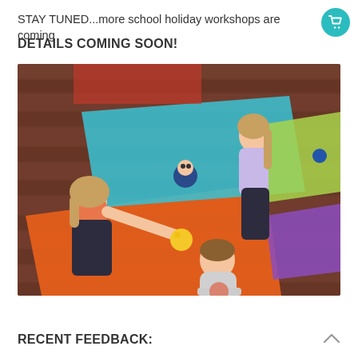STAY TUNED...more school holiday workshops are coming
DETAILS COMING SOON!
[Figure (photo): Children sitting on colourful yoga mats on a wooden floor, playing with a ball during a kids yoga/movement workshop. One girl in pink top stretching toward a yellow ball, another girl standing in background, a boy seated in foreground wearing grey shirt.]
RECENT FEEDBACK: